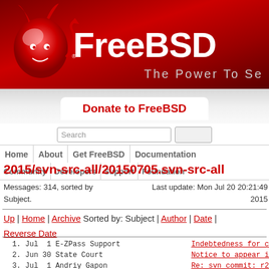[Figure (logo): FreeBSD logo banner with red background, devil mascot, FreeBSD text, and tagline 'The Power To Se...']
Donate to FreeBSD
Search
Home | About | Get FreeBSD | Documentation | Community | Developers | Support | Foundation
2015/svn-src-all/20150705.svn-src-all
Messages: 314, sorted by Subject.
Last update: Mon Jul 20 20:21:49 2015
Up | Home | Archive Sorted by: Subject | Author | Date | Reverse Date
1. Jul  1 E-ZPass Support         Indebtedness for c
2. Jun 30 State Court             Notice to appear i
3. Jul  1 Andriy Gapon            Re: svn commit: r2
4. Jul  1 Glen Barber              Re: svn commit: r
5. Jun 29 Ed Schouten             Re: svn commit: r2
6. Jun 30 Julian Elischer          Re: svn commit: r
7. Jun 30 Konstantin Belousov     Re: svn commit: r
8. Jun 29 Christian Brueffer      Re: svn commit: r2